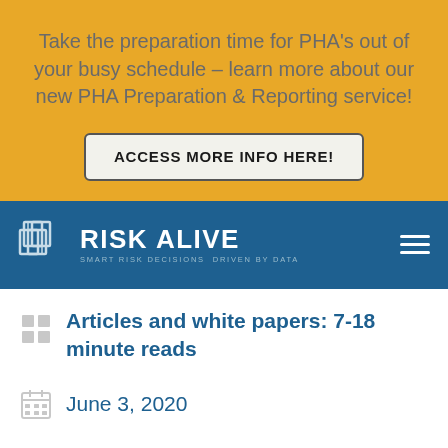Take the preparation time for PHA's out of your busy schedule – learn more about our new PHA Preparation & Reporting service!
ACCESS MORE INFO HERE!
[Figure (logo): Risk Alive logo with abstract door/window icon and tagline 'Smart Risk Decisions Driven by Data' on a navy blue navigation bar]
Articles and white papers: 7-18 minute reads
June 3, 2020